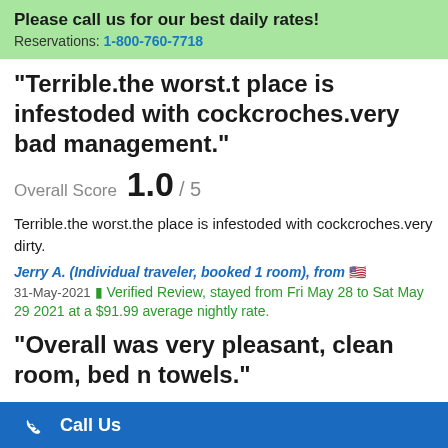Please call us for our best daily rates! Reservations: 1-800-760-7718
"Terrible.the worst.t place is infestoded with cockcroches.very bad management."
Overall Score 1.0 / 5
Terrible.the worst.the place is infestoded with cockcroches.very dirty.
Jerry A. (Individual traveler, booked 1 room), from 🇺🇸
31-May-2021 ✔ Verified Review, stayed from Fri May 28 to Sat May 29 2021 at a $91.99 average nightly rate.
"Overall was very pleasant, clean room, bed n towels."
Overall Score 3.0 / 5
Call Us